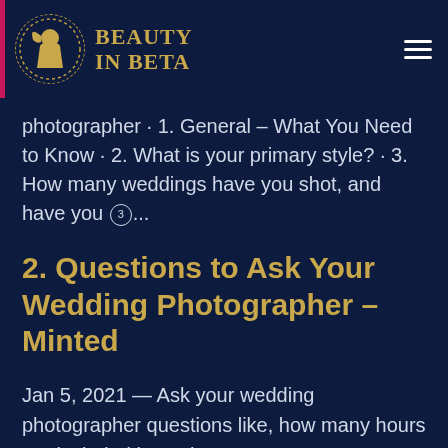[Figure (logo): Beauty in Beta website header with circular logo icon of a woman silhouette and gold text 'BEAUTY IN BETA', plus a hamburger menu icon on the right]
photographer · 1. General – What You Need to Know · 2. What is your primary style? · 3. How many weddings have you shot, and have you ③...
2. Questions to Ask Your Wedding Photographer – Minted
Jan 5, 2021 — Ask your wedding photographer questions like, how many hours are included in each